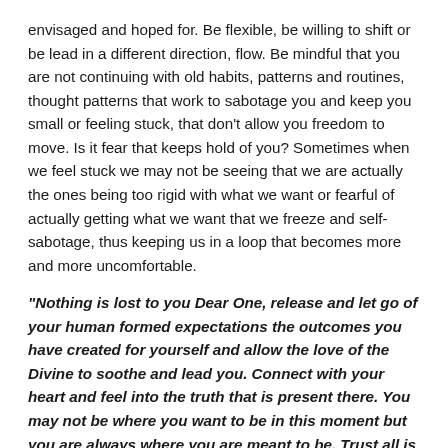envisaged and hoped for. Be flexible, be willing to shift or be lead in a different direction, flow. Be mindful that you are not continuing with old habits, patterns and routines, thought patterns that work to sabotage you and keep you small or feeling stuck, that don't allow you freedom to move. Is it fear that keeps hold of you? Sometimes when we feel stuck we may not be seeing that we are actually the ones being too rigid with what we want or fearful of actually getting what we want that we freeze and self-sabotage, thus keeping us in a loop that becomes more and more uncomfortable.
"Nothing is lost to you Dear One, release and let go of your human formed expectations the outcomes you have created for yourself and allow the love of the Divine to soothe and lead you. Connect with your heart and feel into the truth that is present there. You may not be where you want to be in this moment but you are always where you are meant to be. Trust all is perfectly surfacing for you that propels you forward in love".